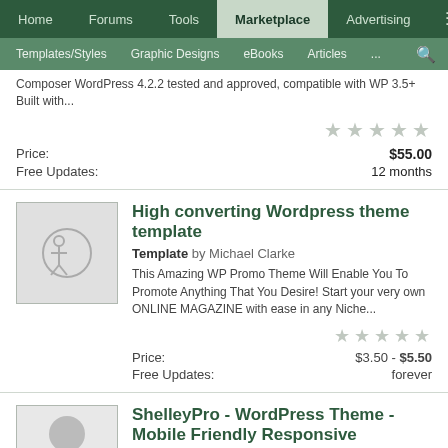Home | Forums | Tools | Marketplace | Advertising
Templates/Styles | Graphic Designs | eBooks | Articles | ...
Composer WordPress 4.2.2 tested and approved, compatible with WP 3.5+ Built with...
Price: $55.00
Free Updates: 12 months
High converting Wordpress theme template
Template by Michael Clarke
This Amazing WP Promo Theme Will Enable You To Promote Anything That You Desire! Start your very own ONLINE MAGAZINE with ease in any Niche...
Price: $3.50 - $5.50
Free Updates: forever
ShelleyPro - WordPress Theme - Mobile Friendly Responsive Personal Blog Theme
1.0.0 by purelythemes
WordPress theme with 110+ customization options, including 12 different homepage sections, with load order options, coupled with unlimited custom...